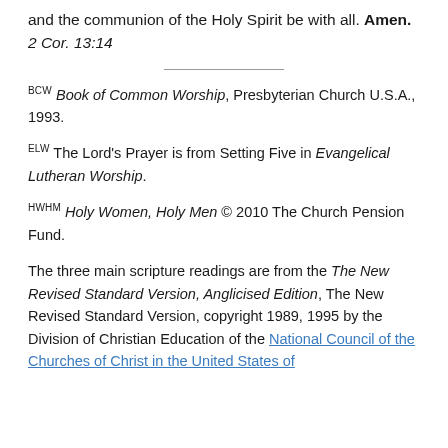and the communion of the Holy Spirit be with all. Amen. 2 Cor. 13:14
BCW Book of Common Worship, Presbyterian Church U.S.A., 1993.
ELW The Lord's Prayer is from Setting Five in Evangelical Lutheran Worship.
HWHM Holy Women, Holy Men © 2010 The Church Pension Fund.
The three main scripture readings are from the The New Revised Standard Version, Anglicised Edition, The New Revised Standard Version, copyright 1989, 1995 by the Division of Christian Education of the National Council of the Churches of Christ in the United States of